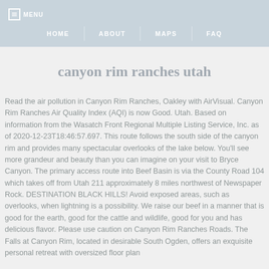MENU
HOME  ABOUT  MAPS  FAQ
canyon rim ranches utah
Read the air pollution in Canyon Rim Ranches, Oakley with AirVisual. Canyon Rim Ranches Air Quality Index (AQI) is now Good. Utah. Based on information from the Wasatch Front Regional Multiple Listing Service, Inc. as of 2020-12-23T18:46:57.697. This route follows the south side of the canyon rim and provides many spectacular overlooks of the lake below. You'll see more grandeur and beauty than you can imagine on your visit to Bryce Canyon. The primary access route into Beef Basin is via the County Road 104 which takes off from Utah 211 approximately 8 miles northwest of Newspaper Rock. DESTINATION BLACK HILLS! Avoid exposed areas, such as overlooks, when lightning is a possibility. We raise our beef in a manner that is good for the earth, good for the cattle and wildlife, good for you and has delicious flavor. Please use caution on Canyon Rim Ranches Roads. The Falls at Canyon Rim, located in desirable South Ogden, offers an exquisite personal retreat with oversized floor plan